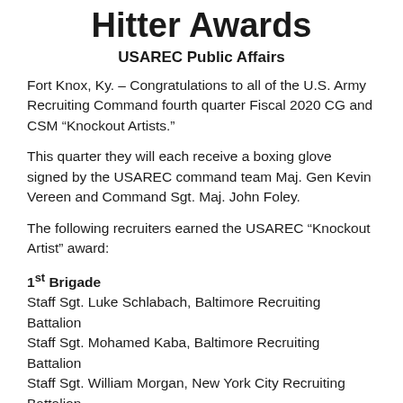Hitter Awards
USAREC Public Affairs
Fort Knox, Ky.  –  Congratulations to all of the U.S. Army Recruiting Command fourth quarter Fiscal 2020 CG and CSM “Knockout Artists.”
This quarter they will each receive a boxing glove signed by the USAREC command team Maj. Gen Kevin Vereen and Command Sgt. Maj. John Foley.
The following recruiters earned the USAREC “Knockout Artist” award:
1st Brigade
Staff Sgt. Luke Schlabach, Baltimore Recruiting Battalion
Staff Sgt. Mohamed Kaba, Baltimore Recruiting Battalion
Staff Sgt. William Morgan, New York City Recruiting Battalion